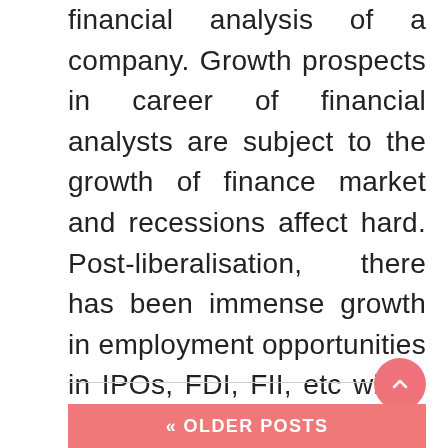financial analysis of a company. Growth prospects in career of financial analysts are subject to the growth of finance market and recessions affect hard. Post-liberalisation, there has been immense growth in employment opportunities in IPOs, FDI, FII, etc which require expert knowledge of finance and in consequence the financial analysts. They also provide the abundance of financial ratios calculated from the data that they gather ...
« OLDER POSTS